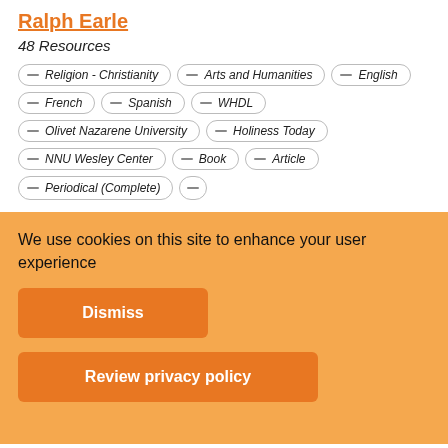Ralph Earle
48 Resources
— Religion - Christianity
— Arts and Humanities
— English
— French
— Spanish
— WHDL
— Olivet Nazarene University
— Holiness Today
— NNU Wesley Center
— Book
— Article
— Periodical (Complete)
—
We use cookies on this site to enhance your user experience
Dismiss
Review privacy policy